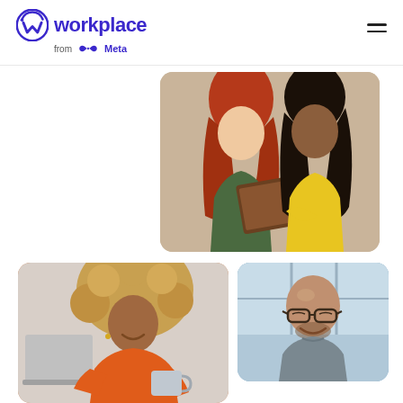[Figure (logo): Workplace from Meta logo — circular W icon in indigo/blue-violet followed by 'workplace' wordmark in large indigo text, with 'from Meta' (Meta infinity symbol) in smaller gray text below]
[Figure (photo): Two women looking at a tablet together — one with long red hair in a dark green top, another with dark curly hair in a yellow top]
[Figure (photo): Woman with large curly blonde hair wearing an orange/coral sweater, smiling and holding a coffee mug while using a laptop]
[Figure (photo): Bald man with glasses and a beard wearing a gray t-shirt, smiling, sitting in a bright windowed space]